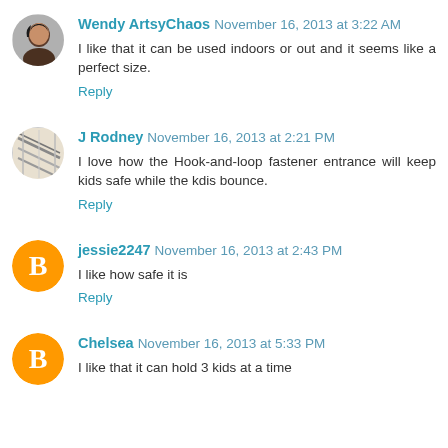Wendy ArtsyChaos November 16, 2013 at 3:22 AM
I like that it can be used indoors or out and it seems like a perfect size.
Reply
J Rodney November 16, 2013 at 2:21 PM
I love how the Hook-and-loop fastener entrance will keep kids safe while the kdis bounce.
Reply
jessie2247 November 16, 2013 at 2:43 PM
I like how safe it is
Reply
Chelsea November 16, 2013 at 5:33 PM
I like that it can hold 3 kids at a time